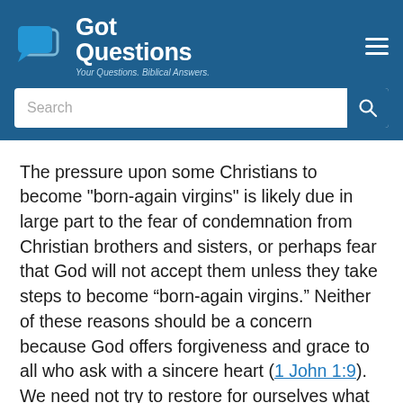GotQuestions — Your Questions. Biblical Answers.
The pressure upon some Christians to become "born-again virgins" is likely due in large part to the fear of condemnation from Christian brothers and sisters, or perhaps fear that God will not accept them unless they take steps to become “born-again virgins.” Neither of these reasons should be a concern because God offers forgiveness and grace to all who ask with a sincere heart (1 John 1:9). We need not try to restore for ourselves what God has already restored in us spiritually.